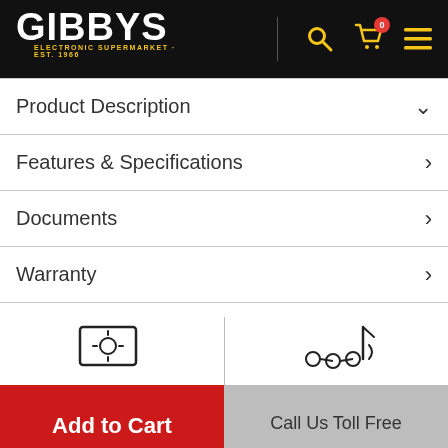[Figure (logo): Gibby's Electronic Supermarket logo on black header bar with search, cart, and menu icons]
Product Description
Features & Specifications
Documents
Warranty
[Figure (infographic): Two icons: a display/brightness icon on the left and a multimedia/audio icon on the right, separated by a vertical line]
Add to Cart | Call Us Toll Free
ADD 4 YEAR TOTAL WARRANTY  $979.60